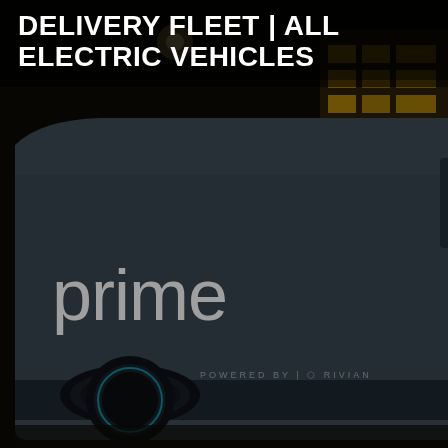DELIVERY FLEET | ALL ELECTRIC VEHICLES
[Figure (photo): A dark nighttime urban scene featuring an Amazon Prime electric delivery van powered by Rivian, parked or driving in front of illuminated city buildings including a Wells Fargo branch. The van is dark gray with 'prime' written in white on the side panel and 'POWERED BY | RIVIAN' on the lower rear. Blue-accented wheel hubs are visible.]